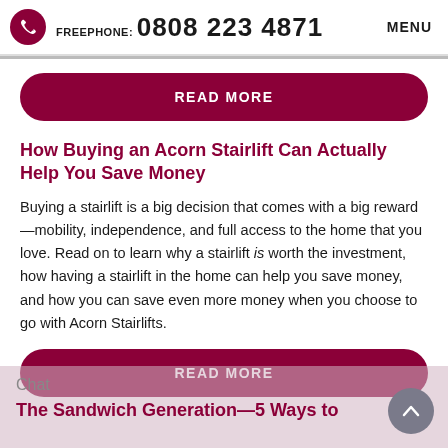FREEPHONE: 0808 223 4871  MENU
READ MORE
How Buying an Acorn Stairlift Can Actually Help You Save Money
Buying a stairlift is a big decision that comes with a big reward—mobility, independence, and full access to the home that you love. Read on to learn why a stairlift is worth the investment, how having a stairlift in the home can help you save money, and how you can save even more money when you choose to go with Acorn Stairlifts.
READ MORE
Chat
The Sandwich Generation—5 Ways to